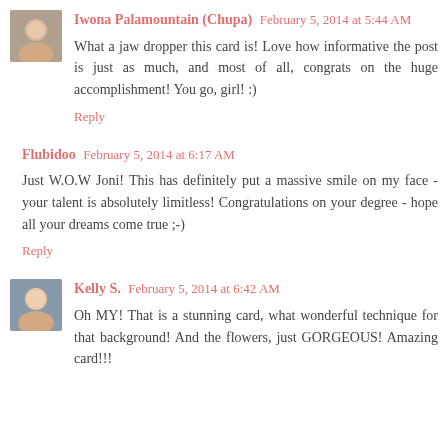Iwona Palamountain (Chupa) February 5, 2014 at 5:44 AM
What a jaw dropper this card is! Love how informative the post is just as much, and most of all, congrats on the huge accomplishment! You go, girl! :)
Reply
Flubidoo February 5, 2014 at 6:17 AM
Just W.O.W Joni! This has definitely put a massive smile on my face - your talent is absolutely limitless! Congratulations on your degree - hope all your dreams come true ;-)
Reply
Kelly S. February 5, 2014 at 6:42 AM
Oh MY! That is a stunning card, what wonderful technique for that background! And the flowers, just GORGEOUS! Amazing card!!!